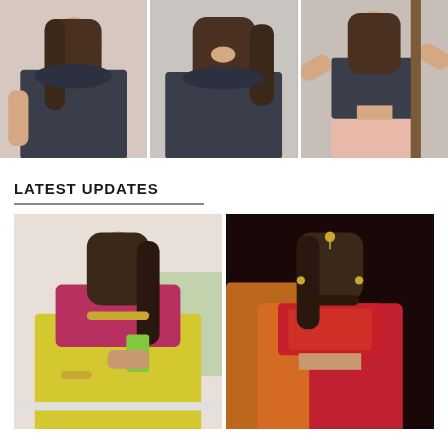[Figure (photo): Three photos in a row of a young woman in a dark navy crop top with ruffled detail. Left: looking down, Center: smiling sideways, Right: posing with arms up showing a pink skirt.]
LATEST UPDATES
[Figure (photo): Two photos side by side. Left: A young woman in a yellow saree with magenta blouse looking at her phone. Right: A young woman in red and gold Indian traditional outfit with dupatta and maang tikka.]